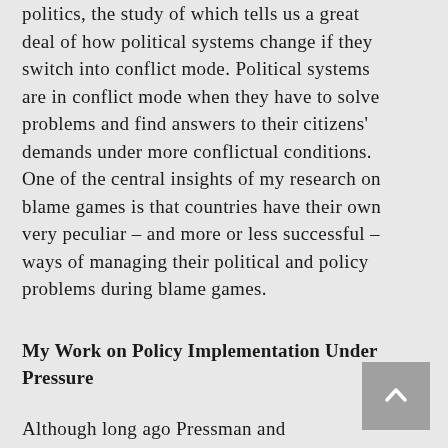politics, the study of which tells us a great deal of how political systems change if they switch into conflict mode. Political systems are in conflict mode when they have to solve problems and find answers to their citizens' demands under more conflictual conditions. One of the central insights of my research on blame games is that countries have their own very peculiar – and more or less successful – ways of managing their political and policy problems during blame games.
My Work on Policy Implementation Under Pressure
Although long ago Pressman and